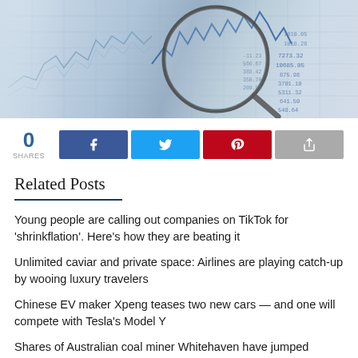[Figure (photo): Hero banner image: financial charts and stock market data with a magnifying glass overlay, blue-toned illustration]
0
SHARES
Social share buttons: Facebook, Twitter, Pinterest, Share
Related Posts
Young people are calling out companies on TikTok for 'shrinkflation'. Here's how they are beating it
Unlimited caviar and private space: Airlines are playing catch-up by wooing luxury travelers
Chinese EV maker Xpeng teases two new cars — and one will compete with Tesla's Model Y
Shares of Australian coal miner Whitehaven have jumped